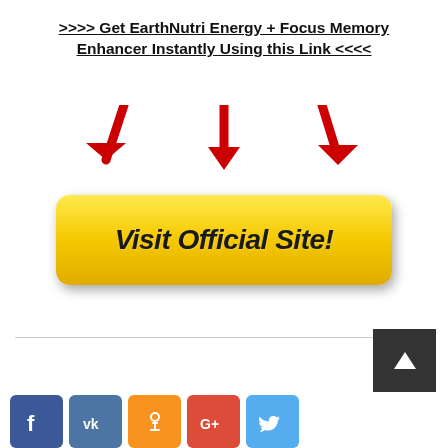>>>> Get EarthNutri Energy + Focus Memory Enhancer Instantly Using this Link <<<<
[Figure (illustration): Three red downward-pointing arrows above a large yellow gradient button labeled 'Visit Official Site!']
[Figure (illustration): Dark gray scroll-to-top button with a white triangle/arrow pointing up, in bottom-right corner]
[Figure (illustration): Row of social media icons: Facebook (blue), VK (blue), Odnoklassniki (orange), Google+ (red/orange), Twitter (light blue)]